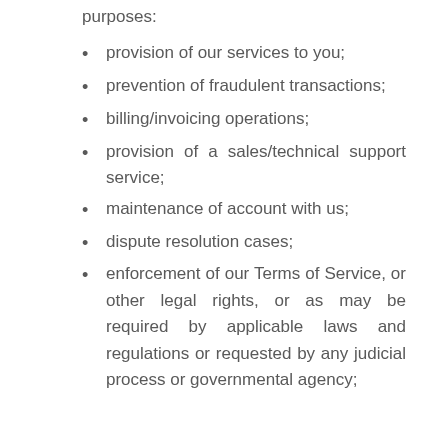used for the following purposes:
provision of our services to you;
prevention of fraudulent transactions;
billing/invoicing operations;
provision of a sales/technical support service;
maintenance of account with us;
dispute resolution cases;
enforcement of our Terms of Service, or other legal rights, or as may be required by applicable laws and regulations or requested by any judicial process or governmental agency;